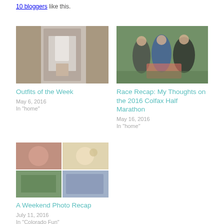10 bloggers like this.
[Figure (photo): Person standing in a white outfit near wooden doors]
Outfits of the Week
May 6, 2016
In "home"
[Figure (photo): Group of people running/celebrating at a race outdoors]
Race Recap: My Thoughts on the 2016 Colfax Half Marathon
May 16, 2016
In "home"
[Figure (photo): Collage of four photos: person smiling, food, running, and outdoor scene]
A Weekend Photo Recap
July 11, 2016
In "Colorado Fun"